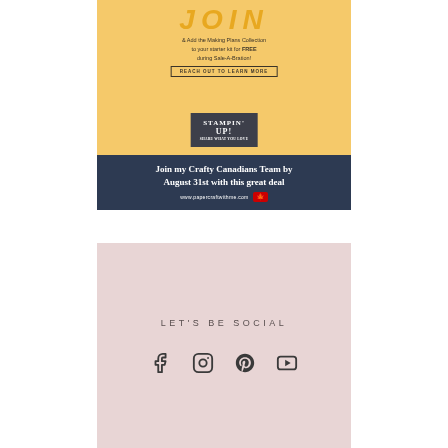[Figure (illustration): Stampin Up promotional banner with yellow background, craft supplies (cards, markers, notebooks), JOIN text at top, subtext about Making Plans Collection free with starter kit during Sale-A-Bration, REACH OUT TO LEARN MORE button, and Stampin Up logo.]
Join my Crafty Canadians Team by August 31st with this great deal
www.papercraftwithme.com
LET'S BE SOCIAL
[Figure (illustration): Social media icons: Facebook, Instagram, Pinterest, YouTube]